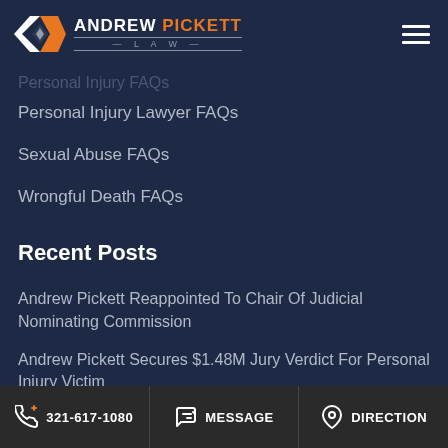ANDREW PICKETT LAW
Personal Injury FAQs
Personal Injury Lawyer FAQs
Sexual Abuse FAQs
Wrongful Death FAQs
Recent Posts
Andrew Pickett Reappointed To Chair Of Judicial Nominating Commission
Andrew Pickett Secures $1.48M Jury Verdict For Personal Injury Victim
What Does It Mean To Work With A Lawyer On A ...
321-617-1080  MESSAGE  DIRECTION